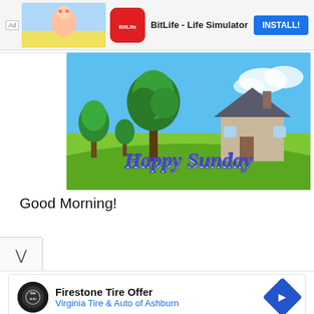[Figure (screenshot): Top advertisement banner for BitLife - Life Simulator app with install button]
[Figure (photo): Happy Sunday greeting image: green meadow with large tree and house, text 'Happy Sunday' in blue script]
Good Morning!
[Figure (screenshot): Bottom advertisement for Firestone Tire Offer - Virginia Tire & Auto of Ashburn with navigation controls]